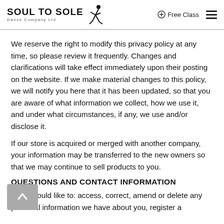Soul to Sole Dance Company Ltd — Free Class
We reserve the right to modify this privacy policy at any time, so please review it frequently. Changes and clarifications will take effect immediately upon their posting on the website. If we make material changes to this policy, we will notify you here that it has been updated, so that you are aware of what information we collect, how we use it, and under what circumstances, if any, we use and/or disclose it.
If our store is acquired or merged with another company, your information may be transferred to the new owners so that we may continue to sell products to you.
QUESTIONS AND CONTACT INFORMATION
If you would like to: access, correct, amend or delete any personal information we have about you, register a